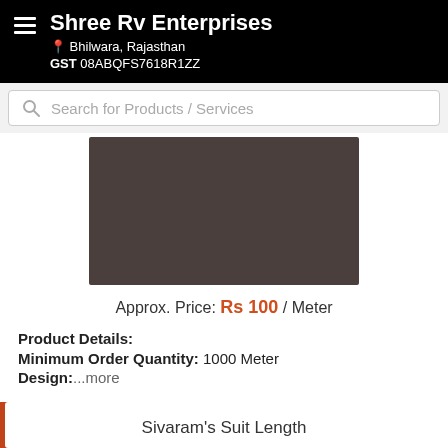Shree Rv Enterprises
Bhilwara, Rajasthan
GST 08ABQFS7618R1ZZ
Search for Products / Services
[Figure (photo): Dark brownish-grey product image placeholder rectangle]
Approx. Price: Rs 100 / Meter
Product Details:
Minimum Order Quantity: 1000 Meter
Design: ...more
Call Us
Get Details
Sivaram's Suit Length